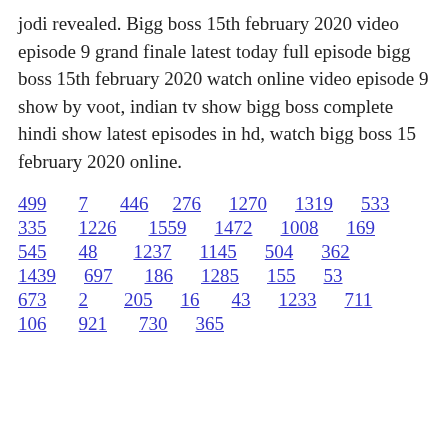jodi revealed. Bigg boss 15th february 2020 video episode 9 grand finale latest today full episode bigg boss 15th february 2020 watch online video episode 9 show by voot, indian tv show bigg boss complete hindi show latest episodes in hd, watch bigg boss 15 february 2020 online.
499  7  446  276  1270  1319  533
335  1226  1559  1472  1008  169
545  48  1237  1145  504  362
1439  697  186  1285  155  53
673  2  205  16  43  1233  711
106  921  730  365